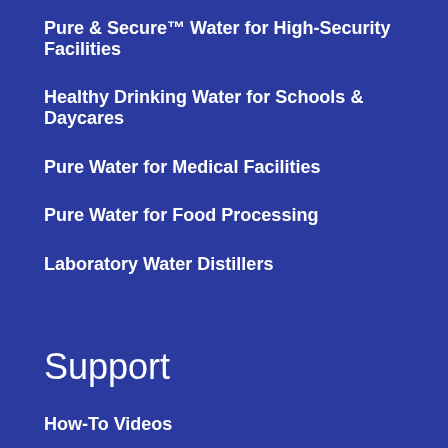Pure & Secure™ Water for High-Security Facilities
Healthy Drinking Water for Schools & Daycares
Pure Water for Medical Facilities
Pure Water for Food Processing
Laboratory Water Distillers
Support
How-To Videos
Warranty Info and Forms
Refund and Return Policy